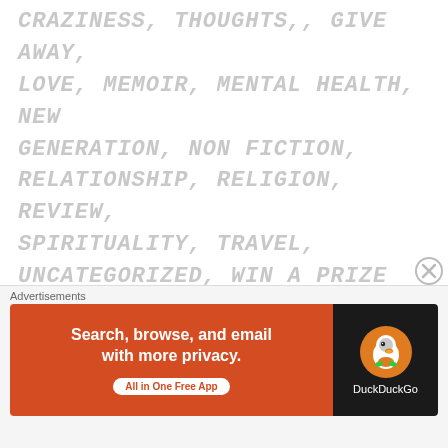CRAZINESS, THOUGHTS,, GIVE AWAY, LOVE, MEMOIR, MENTAL HEALTH, NEW GENERATION, NON FICTION, RELATIONSHIP, RELIGION, REVIEW, SPIRITUALITY, TRAVEL, UNCATEGORIZED, WIN A PRIZE
I don't like birthdays. Simple. I have many reasons.
1. What is so special about coming
[Figure (screenshot): DuckDuckGo advertisement banner: 'Search, browse, and email with more privacy. All in One Free App' with DuckDuckGo logo on dark background. Labeled 'Advertisements'.]